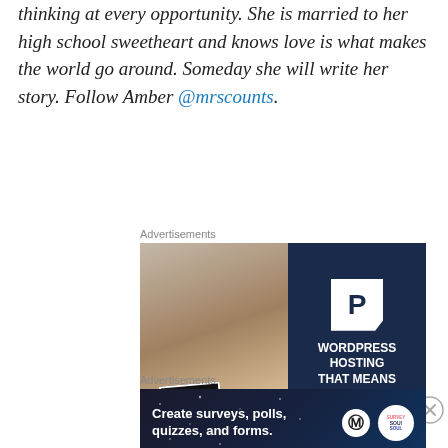thinking at every opportunity. She is married to her high school sweetheart and knows love is what makes the world go around. Someday she will write her story. Follow Amber @mrscounts.
[Figure (other): Advertisement banner: WordPress Hosting. Left half shows a woman smiling holding an OPEN sign. Right half is dark navy with P logo and text 'WORDPRESS HOSTING THAT MEANS BUSINESS.' with a LEARN MORE button.]
[Figure (other): Advertisement banner: Create surveys, polls, quizzes, and forms. Dark starry background with WordPress logo and a circular survey badge.]